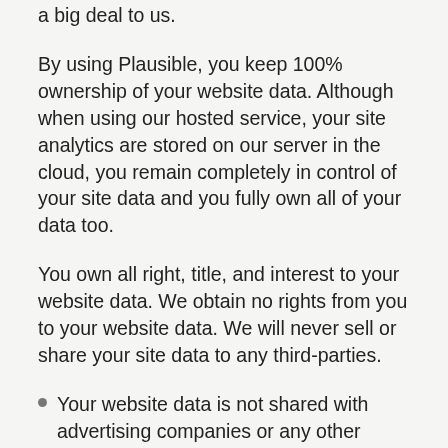a big deal to us.
By using Plausible, you keep 100% ownership of your website data. Although when using our hosted service, your site analytics are stored on our server in the cloud, you remain completely in control of your site data and you fully own all of your data too.
You own all right, title, and interest to your website data. We obtain no rights from you to your website data. We will never sell or share your site data to any third-parties.
Your website data is not shared with advertising companies or any other companies in general.
Your website data is not sent to any third-